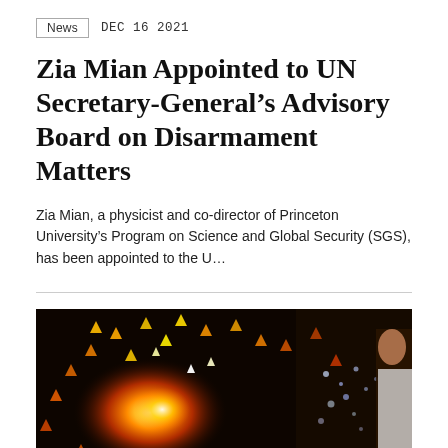News  DEC 16 2021
Zia Mian Appointed to UN Secretary-General’s Advisory Board on Disarmament Matters
Zia Mian, a physicist and co-director of Princeton University’s Program on Science and Global Security (SGS), has been appointed to the U…
[Figure (photo): Explosion of orange and yellow sparks against a dark background, with a person visible on the right edge.]